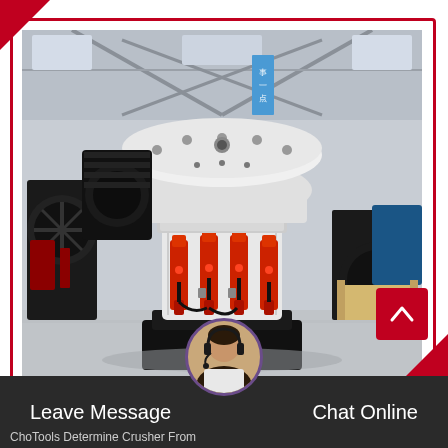[Figure (photo): Industrial cone crusher machine displayed on factory floor inside a large industrial warehouse. The crusher is white and black with red hydraulic cylinders. Other heavy machinery visible in background. Chinese banner hanging in background.]
Leave Message
Chat Online
ChoTools Determine Crusher From